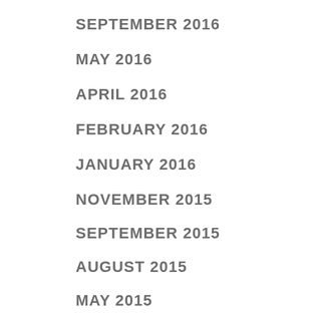SEPTEMBER 2016
MAY 2016
APRIL 2016
FEBRUARY 2016
JANUARY 2016
NOVEMBER 2015
SEPTEMBER 2015
AUGUST 2015
MAY 2015